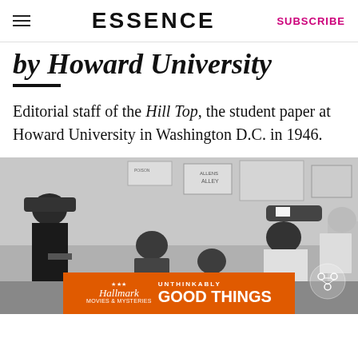ESSENCE | SUBSCRIBE
by Howard University
Editorial staff of the Hill Top, the student paper at Howard University in Washington D.C. in 1946.
[Figure (photo): Black and white photograph of editorial staff of the Hill Top student newspaper at Howard University in Washington D.C. in 1946. Several students are gathered in a room with posters and papers on the wall behind them.]
[Figure (other): Hallmark Movies & Mysteries advertisement banner with orange background reading UNTHINKABLY GOOD THINGS]